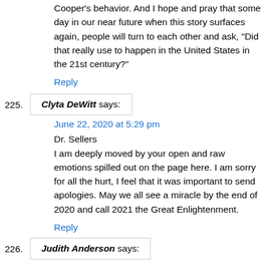Cooper's behavior. And I hope and pray that some day in our near future when this story surfaces again, people will turn to each other and ask, "Did that really use to happen in the United States in the 21st century?"
Reply
Clyta DeWitt says:
June 22, 2020 at 5:29 pm
Dr. Sellers
I am deeply moved by your open and raw emotions spilled out on the page here. I am sorry for all the hurt, I feel that it was important to send apologies. May we all see a miracle by the end of 2020 and call 2021 the Great Enlightenment.
Reply
Judith Anderson says: